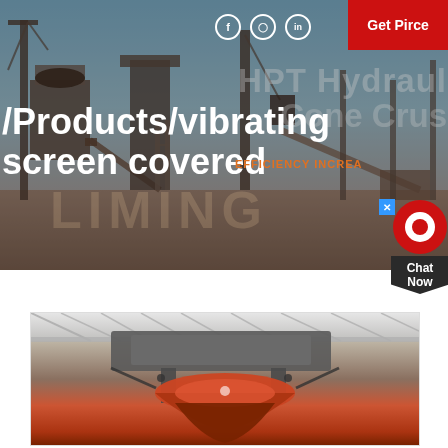[Figure (photo): Industrial mining/crushing plant with heavy machinery, cranes and conveyor belts, outdoor facility]
f  in  Get Pirce
/Products/vibrating screen covered
HPT Hydraul Cone Crus
EFFICIENCY INCREA
Chat Now
[Figure (photo): Close-up of industrial vibrating screen machine in factory/warehouse setting, orange/red heavy equipment]